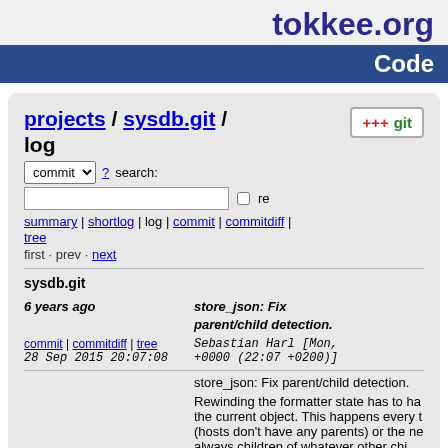tokkee.org
Code
projects / sysdb.git / log
commit ? search: re
summary | shortlog | log | commit | commitdiff | tree
first · prev · next
sysdb.git
6 years ago   store_json: Fix parent/child detection.
commit | commitdiff | tree   Sebastian Harl [Mon, 28 Sep 2015 20:07:08 +0000 (22:07 +0200)]
store_json: Fix parent/child detection.
Rewinding the formatter state has to ha the current object. This happens every t (hosts don't have any parents) or the ne always children of whatever other chi